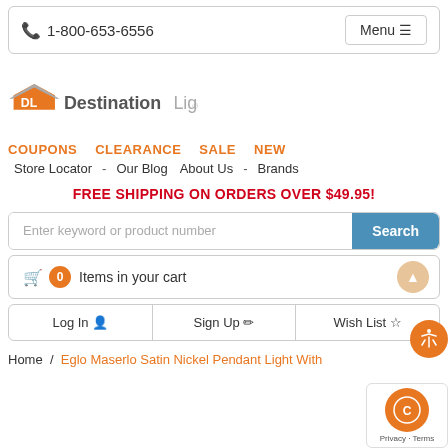📞 1-800-653-6556   Menu
[Figure (logo): Destination Lighting logo with orange DL house icon and grey text]
COUPONS   CLEARANCE   SALE   NEW
Store Locator - Our Blog   About Us - Brands
FREE SHIPPING ON ORDERS OVER $49.95!
Enter keyword or product number   Search
🛒 0 Items in your cart
Log In   Sign Up   Wish List
Home / Eglo Maserlo Satin Nickel Pendant Light With